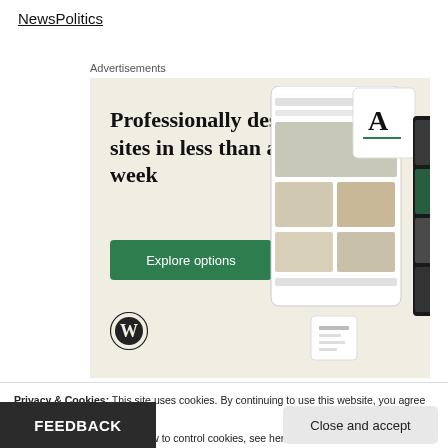NewsPolitics
Advertisements
[Figure (screenshot): WordPress advertisement showing 'Professionally designed sites in less than a week' with an Explore options button, WordPress logo, and mockup screenshots of web pages on a beige background.]
Privacy & Cookies: This site uses cookies. By continuing to use this website, you agree to their use.
To find out more, including how to control cookies, see here: Cookie Policy
FEEDBACK
Close and accept
Okraku Mantey has asked all Ghanaian content creators to